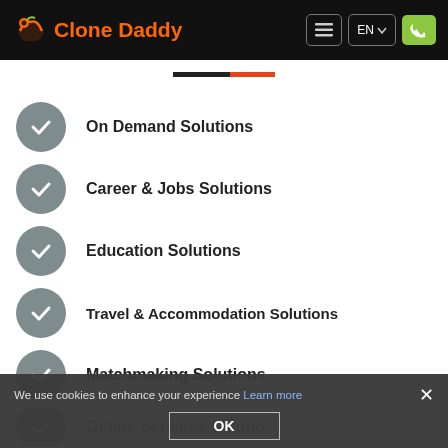Clone Daddy — EN
On Demand Solutions
Career & Jobs Solutions
Education Solutions
Travel & Accommodation Solutions
Matchmaking Solutions
Online Services Solutions (partial)
We use cookies to enhance your experience Learn more OK